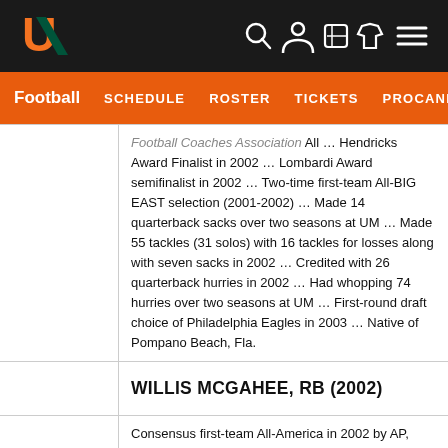[Figure (logo): University of Miami 'U' logo in orange and green on dark background navigation bar with search, user, ticket, and menu icons]
Football  SCHEDULE  ROSTER  TICKETS  PROCANE
Football Coaches Association ... Hendricks Award Finalist in 2002 ... Lombardi Award semifinalist in 2002 ... Two-time first-team All-BIG EAST selection (2001-2002) ... Made 14 quarterback sacks over two seasons at UM ... Made 55 tackles (31 solos) with 16 tackles for losses along with seven sacks in 2002 ... Credited with 26 quarterback hurries in 2002 ... Had whopping 74 hurries over two seasons at UM ... First-round draft choice of Philadelphia Eagles in 2003 ... Native of Pompano Beach, Fla.
WILLIS MCGAHEE, RB (2002)
Consensus first-team All-America in 2002 by AP, AFCA, FWAA, CNNSI.com, Walter Camp and The Sporting News ... Heisman Trophy finalist (fourth) ...